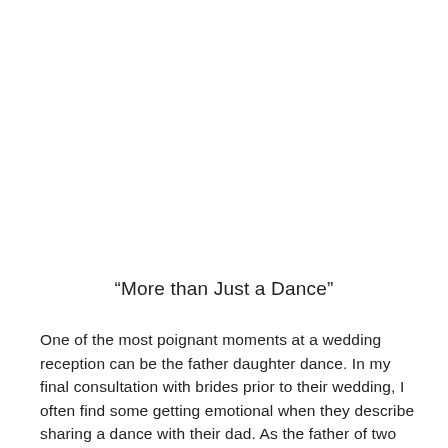“More than Just a Dance”
One of the most poignant moments at a wedding reception can be the father daughter dance. In my final consultation with brides prior to their wedding, I often find some getting emotional when they describe sharing a dance with their dad. As the father of two girls, I know firsthand the strong bond that can be